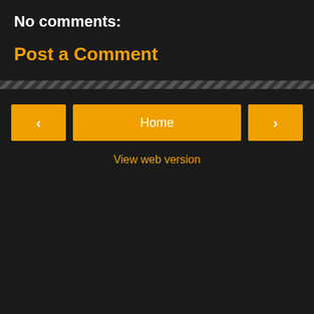No comments:
Post a Comment
Home
View web version